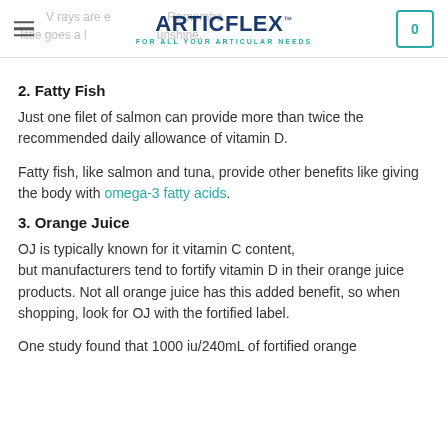ARTICFLEX FOR ALL YOUR ARTICULAR NEEDS
2. Fatty Fish
Just one filet of salmon can provide more than twice the recommended daily allowance of vitamin D.
Fatty fish, like salmon and tuna, provide other benefits like giving the body with omega-3 fatty acids.
3. Orange Juice
OJ is typically known for it vitamin C content, but manufacturers tend to fortify vitamin D in their orange juice products. Not all orange juice has this added benefit, so when shopping, look for OJ with the fortified label.
One study found that 1000 iu/240mL of fortified orange